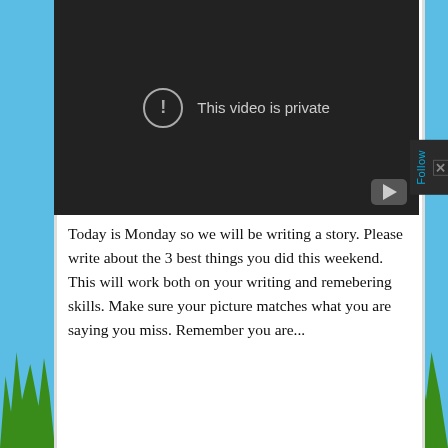[Figure (screenshot): Embedded YouTube video player showing 'This video is private' message with exclamation icon on dark background. YouTube logo visible in bottom right corner.]
Today is Monday so we will be writing a story. Please write about the 3 best things you did this weekend. This will work both on your writing and remebering skills. Make sure your picture matches what you are saying you miss. Remember you are...